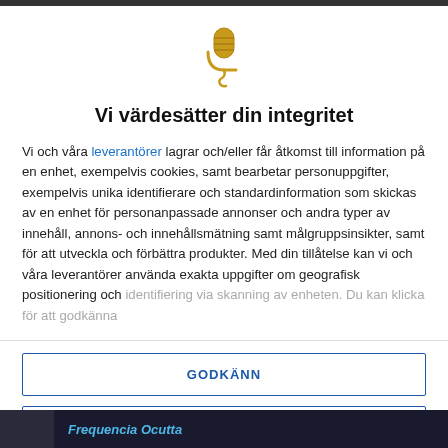[Figure (illustration): Golden microphone icon with a cable curl below it]
Vi värdesätter din integritet
Vi och våra leverantörer lagrar och/eller får åtkomst till information på en enhet, exempelvis cookies, samt bearbetar personuppgifter, exempelvis unika identifierare och standardinformation som skickas av en enhet för personanpassade annonser och andra typer av innehåll, annons- och innehållsmätning samt målgruppsinsikter, samt för att utveckla och förbättra produkter. Med din tillåtelse kan vi och våra leverantörer använda exakta uppgifter om geografisk positionering och identifiering via skanning av enheten. Du kan klicka för att godkänna
GODKÄNN
FLER ALTERNATIV
Frequencia Ocutta